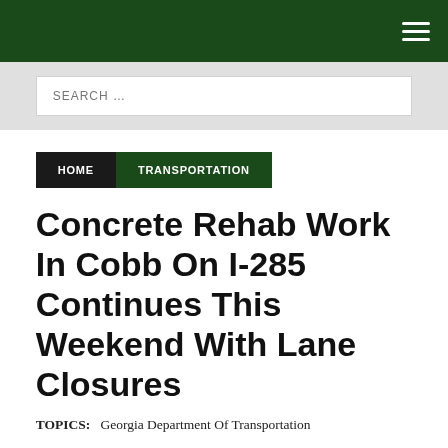SEARCH …
HOME   TRANSPORTATION
Concrete Rehab Work In Cobb On I-285 Continues This Weekend With Lane Closures
TOPICS:   Georgia Department Of Transportation